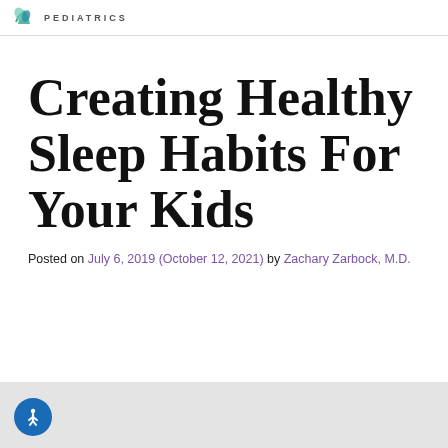PEDIATRICS
Creating Healthy Sleep Habits For Your Kids
Posted on July 6, 2019 (October 12, 2021) by Zachary Zarbock, M.D.
[Figure (other): Gray image area at bottom of page with blue accessibility icon button]